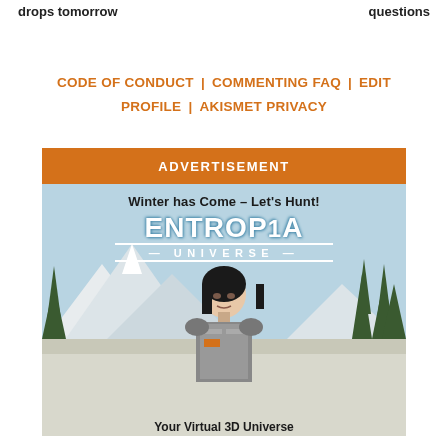drops tomorrow
questions
CODE OF CONDUCT | COMMENTING FAQ | EDIT PROFILE | AKISMET PRIVACY
ADVERTISEMENT
[Figure (illustration): Entropia Universe advertisement showing a female game character in winter armor with a snowy mountain and pine tree landscape. Text reads: 'Winter has Come – Let's Hunt!' with the Entropia Universe logo. Bottom text: 'Your Virtual 3D Universe']